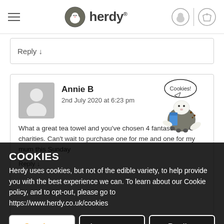herdy®
Reply ↓
Annie B
2nd July 2020 at 6:23 pm
What a great tea towel and you've chosen 4 fantastic charities. Can't wait to purchase one for me and one for my mum this Sunday
Reply ↓
[Figure (illustration): Herdy sheep cartoon holding cookies with speech bubble saying 'Cookies!']
COOKIES
Herdy uses cookies, but not of the edible variety, to help provide you with the best experience we can. To learn about our Cookie policy, and to opt-out, please go to https://www.herdy.co.uk/cookies
Continue
Learn more
Decline